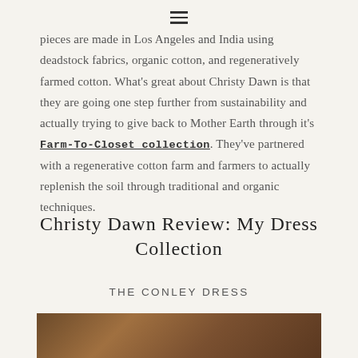≡
pieces are made in Los Angeles and India using deadstock fabrics, organic cotton, and regeneratively farmed cotton. What's great about Christy Dawn is that they are going one step further from sustainability and actually trying to give back to Mother Earth through it's Farm-To-Closet collection. They've partnered with a regenerative cotton farm and farmers to actually replenish the soil through traditional and organic techniques.
Christy Dawn Review: My Dress Collection
THE CONLEY DRESS
[Figure (photo): Bottom edge of a photo showing dried grass or plant stalks in brown tones]